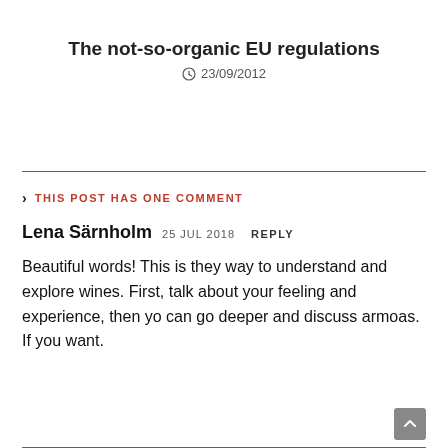The not-so-organic EU regulations
23/09/2012
THIS POST HAS ONE COMMENT
Lena Särnholm 25 JUL 2018 REPLY
Beautiful words! This is they way to understand and explore wines. First, talk about your feeling and experience, then yo can go deeper and discuss armoas. If you want.